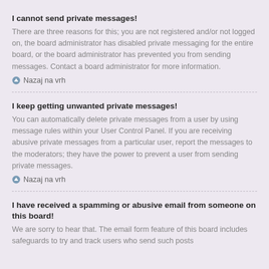I cannot send private messages!
There are three reasons for this; you are not registered and/or not logged on, the board administrator has disabled private messaging for the entire board, or the board administrator has prevented you from sending messages. Contact a board administrator for more information.
Nazaj na vrh
I keep getting unwanted private messages!
You can automatically delete private messages from a user by using message rules within your User Control Panel. If you are receiving abusive private messages from a particular user, report the messages to the moderators; they have the power to prevent a user from sending private messages.
Nazaj na vrh
I have received a spamming or abusive email from someone on this board!
We are sorry to hear that. The email form feature of this board includes safeguards to try and track users who send such posts